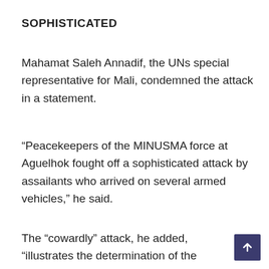SOPHISTICATED
Mahamat Saleh Annadif, the UNs special representative for Mali, condemned the attack in a statement.
“Peacekeepers of the MINUSMA force at Aguelhok fought off a sophisticated attack by assailants who arrived on several armed vehicles,” he said.
The “cowardly” attack, he added, “illustrates the determination of the terrorists to sow chaos.